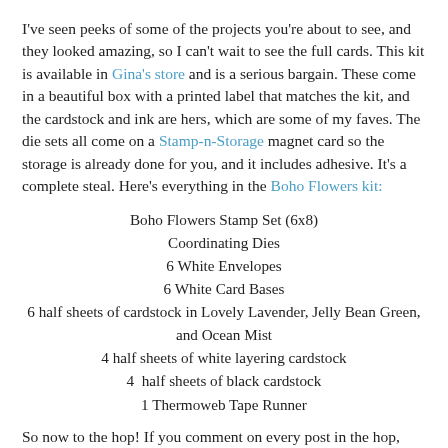I've seen peeks of some of the projects you're about to see, and they looked amazing, so I can't wait to see the full cards. This kit is available in Gina's store and is a serious bargain. These come in a beautiful box with a printed label that matches the kit, and the cardstock and ink are hers, which are some of my faves. The die sets all come on a Stamp-n-Storage magnet card so the storage is already done for you, and it includes adhesive. It's a complete steal. Here's everything in the Boho Flowers kit:
Boho Flowers Stamp Set (6x8)
Coordinating Dies
6 White Envelopes
6 White Card Bases
6 half sheets of cardstock in Lovely Lavender, Jelly Bean Green, and Ocean Mist
4 half sheets of white layering cardstock
4  half sheets of black cardstock
1 Thermoweb Tape Runner
So now to the hop! If you comment on every post in the hop,